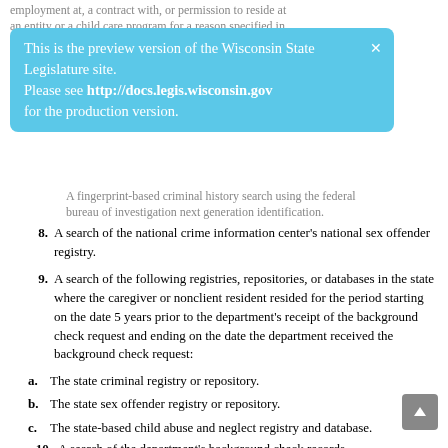employment at, a contract with, or permission to reside at an entity or a child care program for a reason specified in
[Figure (screenshot): Preview banner for Wisconsin State Legislature site with text: This is the preview version of the Wisconsin State Legislature site. Please see http://docs.legis.wisconsin.gov for the production version.]
A fingerprint-based criminal history search using the federal bureau of investigation next generation identification.
8. A search of the national crime information center's national sex offender registry.
9. A search of the following registries, repositories, or databases in the state where the caregiver or nonclient resident resided for the period starting on the date 5 years prior to the department's receipt of the background check request and ending on the date the department received the background check request:
a. The state criminal registry or repository.
b. The state sex offender registry or repository.
c. The state-based child abuse and neglect registry and database.
10. A search of the department's background check records.
(ar) After receiving a request under par. (a) or (ab), the department shall conduct the background check as expeditiously as possible and shall make a good faith effort to complete all components of the background check...